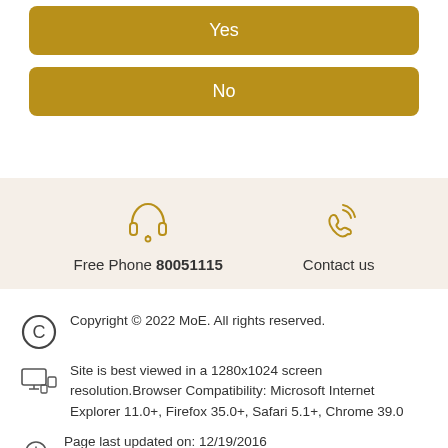Yes
No
[Figure (infographic): Footer contact section with headphone icon for Free Phone 80051115 and phone handset icon for Contact us]
Free Phone 80051115
Contact us
Copyright © 2022 MoE. All rights reserved.
Site is best viewed in a 1280x1024 screen resolution.Browser Compatibility: Microsoft Internet Explorer 11.0+, Firefox 35.0+, Safari 5.1+, Chrome 39.0
Page last updated on: 12/19/2016